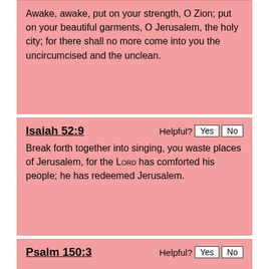Awake, awake, put on your strength, O Zion; put on your beautiful garments, O Jerusalem, the holy city; for there shall no more come into you the uncircumcised and the unclean.
Isaiah 52:9
Break forth together into singing, you waste places of Jerusalem, for the LORD has comforted his people; he has redeemed Jerusalem.
Psalm 150:3